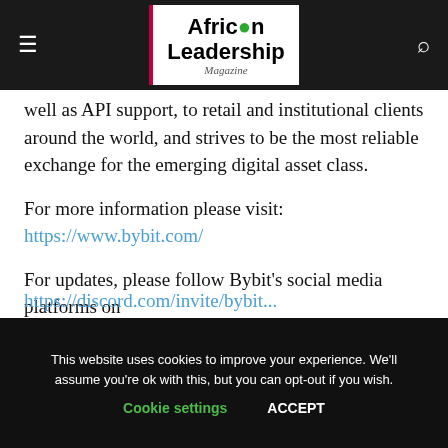African Leadership Magazine (navigation bar with hamburger menu and search icon)
well as API support, to retail and institutional clients around the world, and strives to be the most reliable exchange for the emerging digital asset class.
For more information please visit: https://www.bybit.com/
For updates, please follow Bybit’s social media platforms on
https://discord.com/invite/bybit...
This website uses cookies to improve your experience. We’ll assume you’re ok with this, but you can opt-out if you wish. Cookie settings ACCEPT